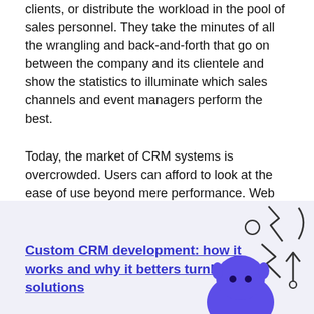clients, or distribute the workload in the pool of sales personnel. They take the minutes of all the wrangling and back-and-forth that go on between the company and its clientele and show the statistics to illuminate which sales channels and event managers perform the best.
Today, the market of CRM systems is overcrowded. Users can afford to look at the ease of use beyond mere performance. Web design software comes to the fore, as we are about to demonstrate a selection of twelve well-rated CRM applications for sales and event management. They do some things better than others, however.
[Figure (illustration): Promotional box with light purple background containing a link text 'Custom CRM development: how it works and why it betters turnkey solutions' on the left and a cartoon illustration of a purple blob character with decorative zigzag and arrow shapes on the right.]